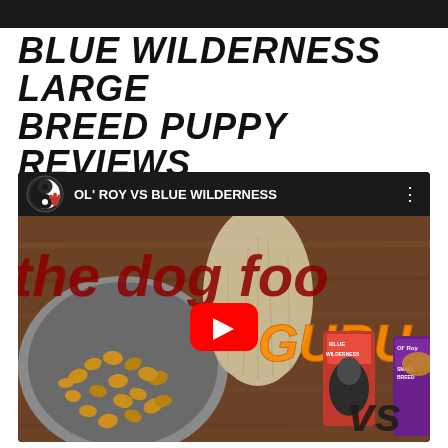BLUE WILDERNESS LARGE BREED PUPPY REVIEWS
Last Updated: Thursday, January 7, 2021
[Figure (screenshot): YouTube video thumbnail showing 'OL' ROY VS BLUE WILDERNESS' video from 'the dog food guru' channel. Thumbnail shows a bowl of dog kibble on the left, a dog in the center, Blue Wilderness and Ol' Roy dog food bags on the right with a 'vs' graphic, and orange 'GURU' text. Red YouTube play button in the center.]